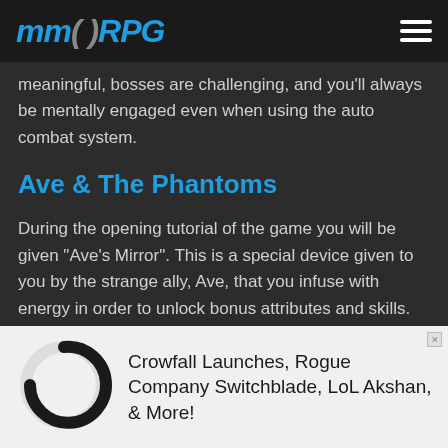MMORPG
meaningful, bosses are challenging, and you'll always be mentally engaged even when using the auto combat system.
Ave & The Phantoms
During the opening tutorial of the game you will be given "Ave's Mirror". This is a special device given to you by the strange ally, Ave, that you infuse with energy in order to unlock bonus attributes and skills. As you infuse the mirror, it levels up and unlocks
[Figure (other): Loading spinner / donut circle graphic, mostly light gray with a black arc segment]
Crowfall Launches, Rogue Company Switchblade, LoL Akshan, & More!